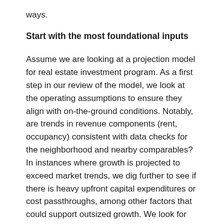ways.
Start with the most foundational inputs
Assume we are looking at a projection model for real estate investment program. As a first step in our review of the model, we look at the operating assumptions to ensure they align with on-the-ground conditions. Notably, are trends in revenue components (rent, occupancy) consistent with data checks for the neighborhood and nearby comparables? In instances where growth is projected to exceed market trends, we dig further to see if there is heavy upfront capital expenditures or cost passthroughs, among other factors that could support outsized growth. We look for